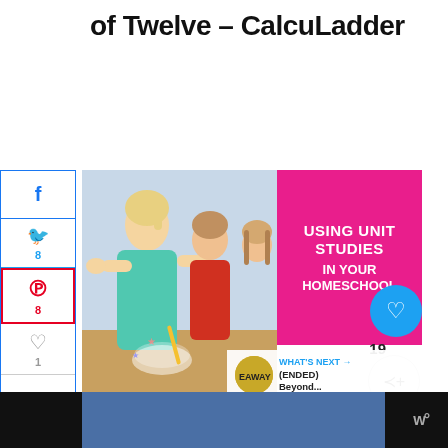of Twelve – CalcuLadder
Read More
[Figure (infographic): Social media share sidebar with Facebook, Twitter (8), Pinterest (8), Heart (1), Email, LinkedIn icons and share counts]
16
SHARES
[Figure (photo): Children doing crafts at a table with pink overlay reading USING UNIT STUDIES IN YOUR HOMESCHOOL]
Using Unit Studies in Your